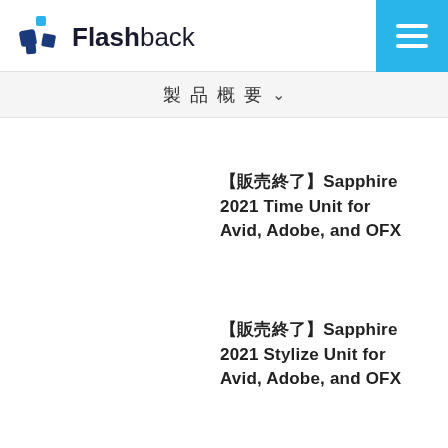Flashback
製品概要
【販売終了】Sapphire 2021 Time Unit for Avid, Adobe, and OFX
【販売終了】Sapphire 2021 Stylize Unit for Avid, Adobe, and OFX